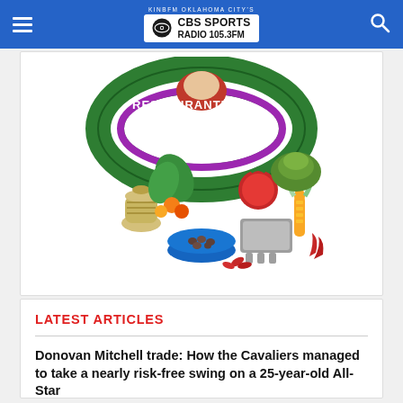KINBFM OKLAHOMA CITY'S CBS SPORTS RADIO 105.3FM
[Figure (illustration): Colorful illustration of a Mexican restaurant logo showing the text 'RESTAURANTÉ MEXI' on a green circular band, surrounded by Mexican food items including a clay jug, bowl of beans, vegetables, corn, tomatoes, and other produce.]
LATEST ARTICLES
Donovan Mitchell trade: How the Cavaliers managed to take a nearly risk-free swing on a 25-year-old All-Star